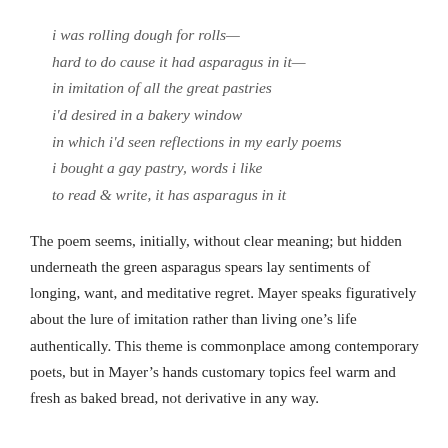i was rolling dough for rolls—
hard to do cause it had asparagus in it—
in imitation of all the great pastries
i'd desired in a bakery window
in which i'd seen reflections in my early poems
i bought a gay pastry, words i like
to read & write, it has asparagus in it
The poem seems, initially, without clear meaning; but hidden underneath the green asparagus spears lay sentiments of longing, want, and meditative regret. Mayer speaks figuratively about the lure of imitation rather than living one's life authentically. This theme is commonplace among contemporary poets, but in Mayer's hands customary topics feel warm and fresh as baked bread, not derivative in any way.